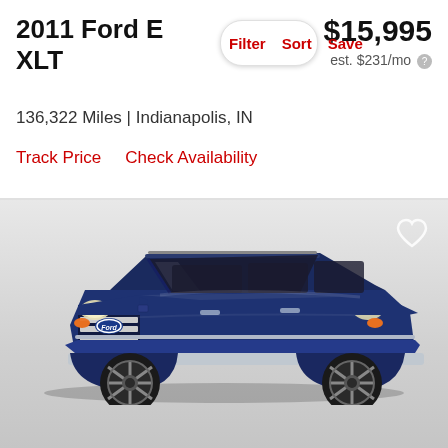2011 Ford E XLT
$15,995
est. $231/mo
Filter | Sort | Save
136,322 Miles | Indianapolis, IN
Track Price   Check Availability
[Figure (photo): 2011 Ford Expedition XLT in dark navy blue, front three-quarter view, shown against a gray gradient background. Large SUV with chrome grille, round headlights with orange turn signals, roof rails, and chrome side trim.]